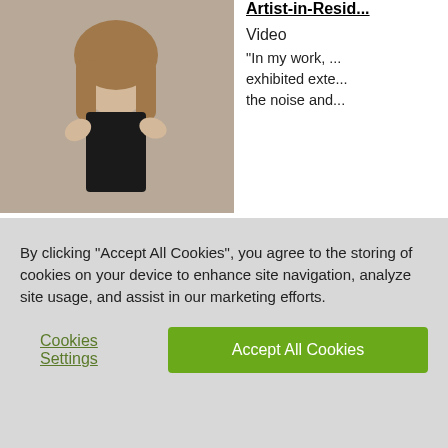[Figure (photo): Photo of a woman with long hair in a black top, raising her hands]
Artist-in-Resid...
Video
"In my work, ... exhibited exte... the noise and...
[Figure (photo): Photo of a person with dark hair and sunglasses working at a table]
Artist-in-Resid...
Video
"I want the vi... my work." Mi... work explores...
[Figure (photo): Photo of a gallery interior with artwork on walls]
Artist-in-Resid...
By clicking “Accept All Cookies”, you agree to the storing of cookies on your device to enhance site navigation, analyze site usage, and assist in our marketing efforts.
Cookies Settings
Accept All Cookies